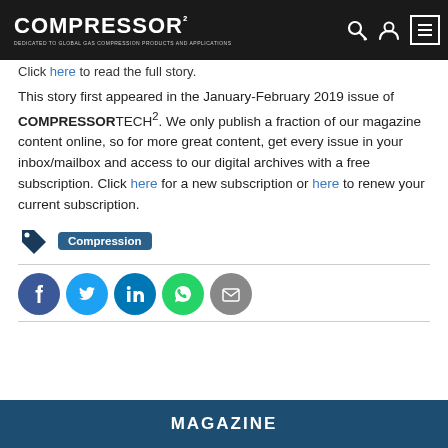COMPRESSORTECH²
Click here to read the full story.
This story first appeared in the January-February 2019 issue of COMPRESSORTECH². We only publish a fraction of our magazine content online, so for more great content, get every issue in your inbox/mailbox and access to our digital archives with a free subscription. Click here for a new subscription or here to renew your current subscription.
Compression
[Figure (infographic): Social sharing icons: Facebook, Twitter, LinkedIn, WhatsApp, Email]
MAGAZINE